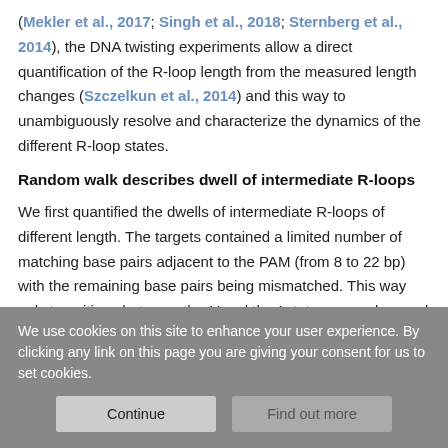(Mekler et al., 2017; Singh et al., 2018; Sternberg et al., 2014), the DNA twisting experiments allow a direct quantification of the R-loop length from the measured length changes (Szczelkun et al., 2014) and this way to unambiguously resolve and characterize the dynamics of the different R-loop states.
Random walk describes dwell of intermediate R-loops
We first quantified the dwells of intermediate R-loops of different length. The targets contained a limited number of matching base pairs adjacent to the PAM (from 8 to 22 bp) with the remaining base pairs being mismatched. This way only transitions between the U and the I states were observed (Figures 2A and S1A). We
We use cookies on this site to enhance your user experience. By clicking any link on this page you are giving your consent for us to set cookies.